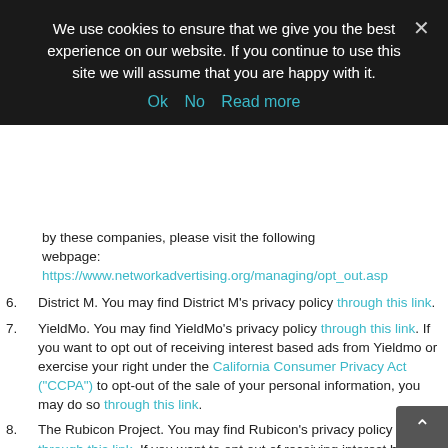We use cookies to ensure that we give you the best experience on our website. If you continue to use this site we will assume that you are happy with it.
Ok   No   Read more
by these companies, please visit the following webpage: https://www.networkadvertising.org/managing/opt_out.asp
6. District M. You may find District M's privacy policy through this link.
7. YieldMo. You may find YieldMo's privacy policy through this link. If you want to opt out of receiving interest based ads from Yieldmo or exercise your right under the California Consumer Privacy Act ("CCPA") to opt-out of the sale of your personal information, you may do so through this link.
8. The Rubicon Project. You may find Rubicon's privacy policy through this link. If you want to opt out of receiving interest based ads from Rubicon or exercise your right under the California Consumer Privacy A...